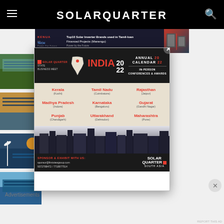SOLARQUARTER
[Figure (screenshot): Advertisement banner for KENUA TECH showing Top10 Solar Inverter Brands used in Tamil-/oan Financed Projects]
Advertisements
[Figure (screenshot): Article thumbnail - solar panels in field]
[Figure (screenshot): Article thumbnail - solar panels at sunset]
[Figure (screenshot): Article thumbnail - solar and wind energy]
Metering
W Capacity 27
[Figure (infographic): Solar Quarter State Business Meet India 2022 Annual Calendar popup advertisement showing IN-PERSON CONFERENCES & AWARDS with locations: Kerala (Kochi), Tamil Nadu (Coimbatore), Rajasthan (Jaipur), Madhya Pradesh (Indore), Karnataka (Bengaluru), Gujarat (Gandhi Nagar), Punjab (Chandigarh), Uttarakhand (Dehradun), Maharashtra (Pune). SPONSOR & EXHIBIT WITH US: sponsor@firstviewgroup.com 9372788472/7718877514. SOLAR QUARTER SOUTH ASIA.]
nergy Investment For The Future In Indonesia
Advertisements